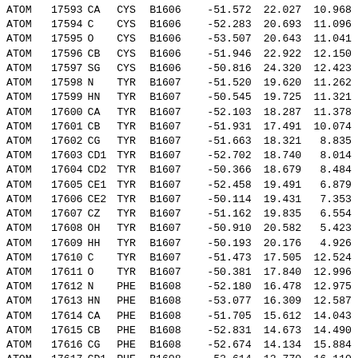| type | serial | name | resName | chainResSeq | x | y | z |
| --- | --- | --- | --- | --- | --- | --- | --- |
| ATOM | 17593 | CA | CYS | B1606 | -51.572 | 22.027 | 10.968 |
| ATOM | 17594 | C | CYS | B1606 | -52.283 | 20.693 | 11.096 |
| ATOM | 17595 | O | CYS | B1606 | -53.507 | 20.643 | 11.041 |
| ATOM | 17596 | CB | CYS | B1606 | -51.946 | 22.922 | 12.150 |
| ATOM | 17597 | SG | CYS | B1606 | -50.816 | 24.320 | 12.423 |
| ATOM | 17598 | N | TYR | B1607 | -51.520 | 19.620 | 11.262 |
| ATOM | 17599 | HN | TYR | B1607 | -50.545 | 19.725 | 11.321 |
| ATOM | 17600 | CA | TYR | B1607 | -52.103 | 18.287 | 11.378 |
| ATOM | 17601 | CB | TYR | B1607 | -51.931 | 17.491 | 10.074 |
| ATOM | 17602 | CG | TYR | B1607 | -51.663 | 18.321 | 8.835 |
| ATOM | 17603 | CD1 | TYR | B1607 | -52.702 | 18.740 | 8.014 |
| ATOM | 17604 | CD2 | TYR | B1607 | -50.366 | 18.679 | 8.484 |
| ATOM | 17605 | CE1 | TYR | B1607 | -52.458 | 19.491 | 6.879 |
| ATOM | 17606 | CE2 | TYR | B1607 | -50.114 | 19.431 | 7.353 |
| ATOM | 17607 | CZ | TYR | B1607 | -51.162 | 19.835 | 6.554 |
| ATOM | 17608 | OH | TYR | B1607 | -50.910 | 20.582 | 5.423 |
| ATOM | 17609 | HH | TYR | B1607 | -50.193 | 20.176 | 4.926 |
| ATOM | 17610 | C | TYR | B1607 | -51.473 | 17.505 | 12.524 |
| ATOM | 17611 | O | TYR | B1607 | -50.381 | 17.840 | 12.996 |
| ATOM | 17612 | N | PHE | B1608 | -52.180 | 16.478 | 12.975 |
| ATOM | 17613 | HN | PHE | B1608 | -53.077 | 16.309 | 12.587 |
| ATOM | 17614 | CA | PHE | B1608 | -51.705 | 15.612 | 14.043 |
| ATOM | 17615 | CB | PHE | B1608 | -52.831 | 14.673 | 14.490 |
| ATOM | 17616 | CG | PHE | B1608 | -52.674 | 14.134 | 15.884 |
| ATOM | 17617 | CD1 | PHE | B1608 | -52.614 | 12.770 | 16.110 |
| ATOM | 17618 | CD2 | PHE | B1608 | -52.590 | 14.992 | 16.968 |
| ATOM | 17619 | CE1 | PHE | B1608 | -52.472 | 12.270 | 17.390 |
| ATOM | 17620 | CE2 | PHE | B1608 | -52.447 | 14.499 | 18.251 |
| ATOM | 17621 | CZ | PHE | B1608 | -52.388 | 13.136 | 18.461 |
| ATOM | 17622 | C | PHE | B1608 | -50.501 | 14.805 | 13.556 |